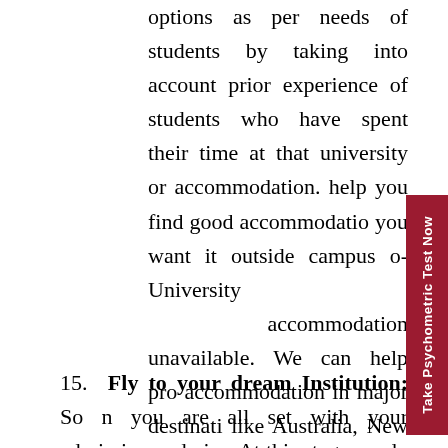options as per needs of students by taking into account prior experience of students who have spent their time at that university or accommodation. help you find good accommodation you want it outside campus or University accommodation unavailable. We can help provide accommodation in major destinations like Australia, New Zealand, U USA, Canada and Europe.
15. Fly to your dream Institution: So now you are all set with your admission and visa. At this stage we do a brief session to acclimatize you to the